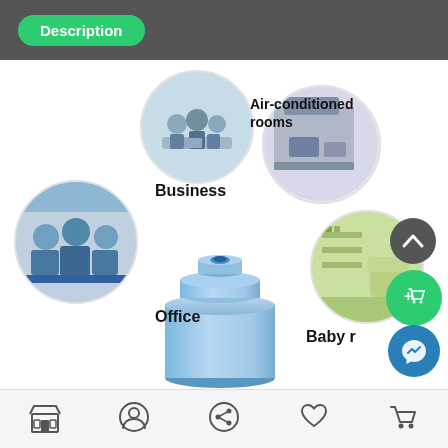Description
[Figure (infographic): Product use-case infographic showing four circular images: Business (people at conference table), Air-conditioned rooms (modern room with AC), Office (people working at desks), Baby room (nursery/kids room). Center shows a blue cylindrical humidifier/air purifier device. Labels: Business, Air-conditioned rooms, Office, Baby.]
Navigation bar with store, profile, share, heart/wishlist, and cart icons